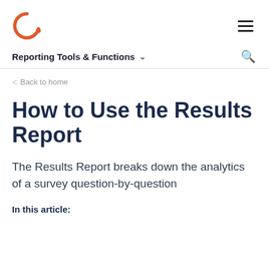[Figure (logo): Circular orange arc logo with a dot, partial ring shape in orange/red on white background]
Reporting Tools & Functions ∨
< Back to home
How to Use the Results Report
The Results Report breaks down the analytics of a survey question-by-question
In this article: